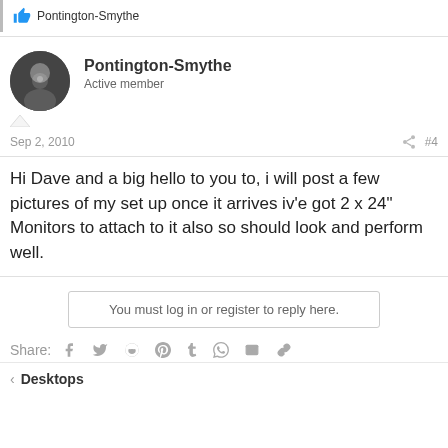Pontington-Smythe (like bar)
Pontington-Smythe
Active member
Sep 2, 2010   #4
Hi Dave and a big hello to you to, i will post a few pictures of my set up once it arrives iv'e got 2 x 24" Monitors to attach to it also so should look and perform well.
You must log in or register to reply here.
Share:
Desktops